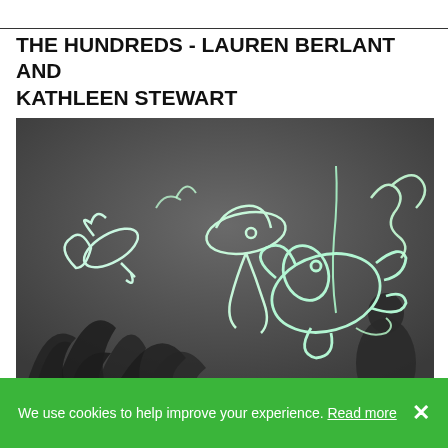THE HUNDREDS - LAUREN BERLANT AND KATHLEEN STEWART
[Figure (photo): Dark grey background with glowing white hand-drawn doodles/illustrations of abstract figures including what appear to be cartoon-like creatures or characters. Dark shadows of what appear to be plants or silhouettes are visible in the lower portion of the image.]
We use cookies to help improve your experience. Read more